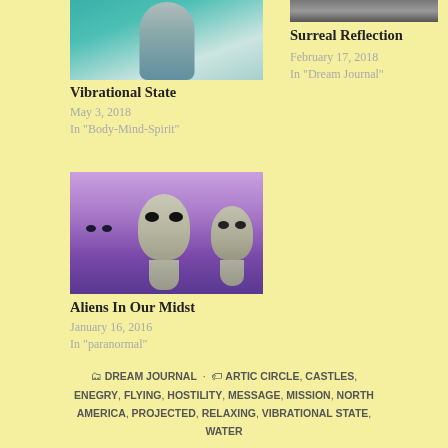[Figure (photo): Partial image of a person in jeans on a teal/green background (Vibrational State post thumbnail)]
Vibrational State
May 3, 2018
In "Body-Mind-Spirit"
[Figure (photo): Partial dark image at top right (Surreal Reflection post thumbnail)]
Surreal Reflection
February 17, 2018
In "Dream Journal"
[Figure (photo): Three grey alien figures on purple background (Aliens In Our Midst post thumbnail)]
Aliens In Our Midst
January 16, 2016
In "paranormal"
DREAM JOURNAL · ARTIC CIRCLE, CASTLES, ENEGRY, FLYING, HOSTILITY, MESSAGE, MISSION, NORTH AMERICA, PROJECTED, RELAXING, VIBRATIONAL STATE, WATER